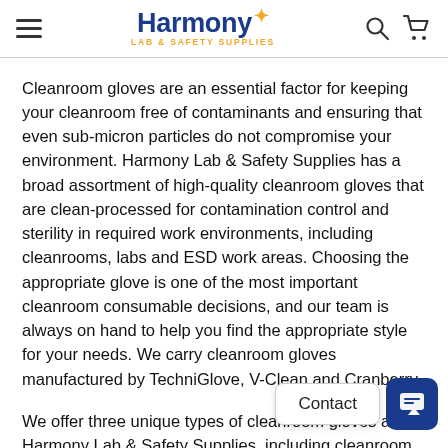Harmony Lab & Safety Supplies — Navigation header with logo, hamburger menu, search and cart icons
Cleanroom gloves are an essential factor for keeping your cleanroom free of contaminants and ensuring that even sub-micron particles do not compromise your environment. Harmony Lab & Safety Supplies has a broad assortment of high-quality cleanroom gloves that are clean-processed for contamination control and sterility in required work environments, including cleanrooms, labs and ESD work areas. Choosing the appropriate glove is one of the most important cleanroom consumable decisions, and our team is always on hand to help you find the appropriate style for your needs. We carry cleanroom gloves manufactured by TechniGlove, V-Clean and Cranberry.
We offer three unique types of cleanroom gloves at Harmony Lab & Safety Supplies, including cleanroom nitrile gloves,